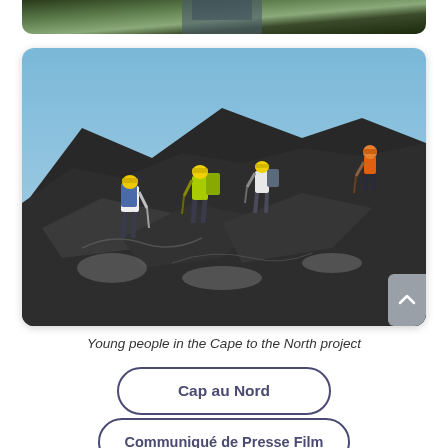[Figure (photo): Partially visible photo of a person in a suit against green foliage background, cropped at top of page]
[Figure (photo): Group of young people wearing yellow helmets and backpacks climbing over dark rocky glacier terrain with blue sky in background. One person stands at the top right wearing an orange jacket.]
Young people in the Cape to the North project
Cap au Nord
Communiqué de Presse Film